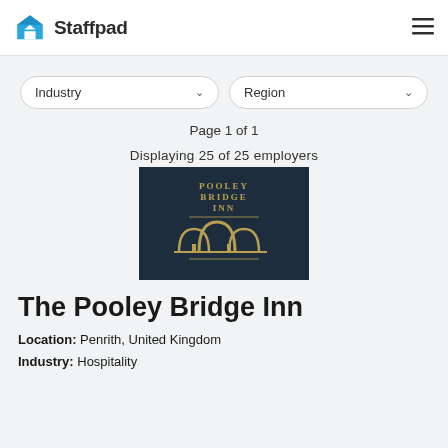Staffpad
Industry ∨   Region ∨
Page 1 of 1
Displaying 25 of 25 employers
[Figure (logo): Pooley Bridge Inn logo on dark navy background with gold arch/bridge graphic and text POOLEY BRIDGE INN]
The Pooley Bridge Inn
Location: Penrith, United Kingdom
Industry: Hospitality